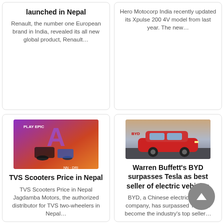launched in Nepal
Renault, the number one European brand in India, revealed its all new global product, Renault…
Hero Motocorp India recently updated its Xpulse 200 4V model from last year. The new…
[Figure (photo): TVS scooters promotional image with purple Avengers-style background and two scooters]
TVS Scooters Price in Nepal
TVS Scooters Price in Nepal Jagdamba Motors, the authorized distributor for TVS two-wheelers in Nepal…
[Figure (photo): Red BYD electric vehicle on a road with dramatic sky background]
Warren Buffett's BYD surpasses Tesla as best seller of electric vehicles
BYD, a Chinese electric vehicle company, has surpassed Tesla to become the industry's top seller…